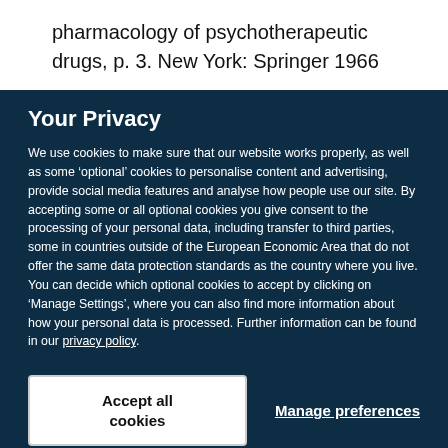pharmacology of psychotherapeutic drugs, p. 3. New York: Springer 1966
Your Privacy
We use cookies to make sure that our website works properly, as well as some ‘optional’ cookies to personalise content and advertising, provide social media features and analyse how people use our site. By accepting some or all optional cookies you give consent to the processing of your personal data, including transfer to third parties, some in countries outside of the European Economic Area that do not offer the same data protection standards as the country where you live. You can decide which optional cookies to accept by clicking on ‘Manage Settings’, where you can also find more information about how your personal data is processed. Further information can be found in our privacy policy.
Accept all cookies
Manage preferences